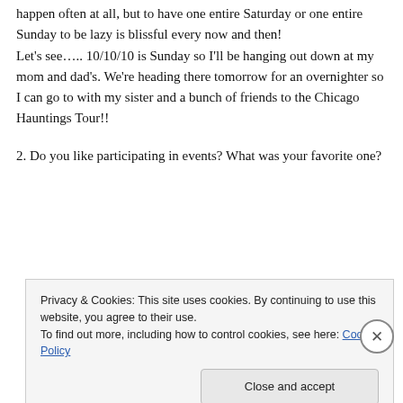happen often at all, but to have one entire Saturday or one entire Sunday to be lazy is blissful every now and then!
Let's see….. 10/10/10 is Sunday so I'll be hanging out down at my mom and dad's. We're heading there tomorrow for an overnighter so I can go to with my sister and a bunch of friends to the Chicago Hauntings Tour!!
2. Do you like participating in events? What was your favorite one?
Privacy & Cookies: This site uses cookies. By continuing to use this website, you agree to their use.
To find out more, including how to control cookies, see here: Cookie Policy